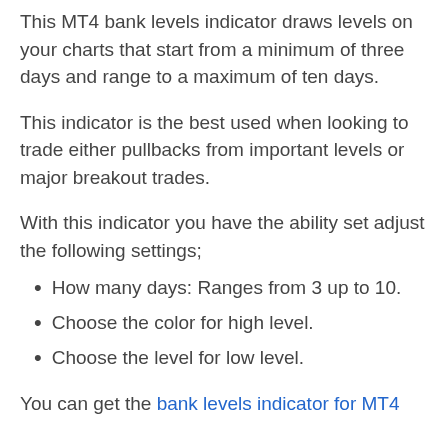This MT4 bank levels indicator draws levels on your charts that start from a minimum of three days and range to a maximum of ten days.
This indicator is the best used when looking to trade either pullbacks from important levels or major breakout trades.
With this indicator you have the ability set adjust the following settings;
How many days: Ranges from 3 up to 10.
Choose the color for high level.
Choose the level for low level.
You can get the bank levels indicator for MT4